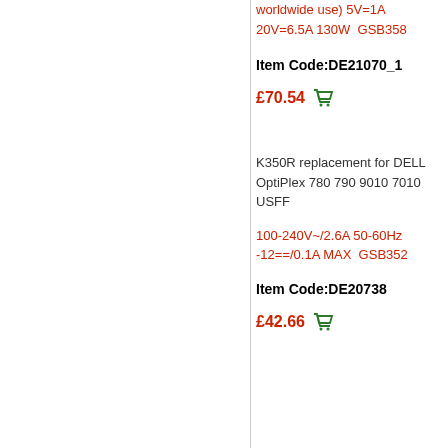worldwide use) 5V=1A 20V=6.5A 130W  GSB358
Item Code:DE21070_1
£70.54
K350R replacement for DELL OptiPlex 780 790 9010 7010 USFF
100-240V~/2.6A 50-60Hz -12==/0.1A MAX  GSB352
Item Code:DE20738
£42.66